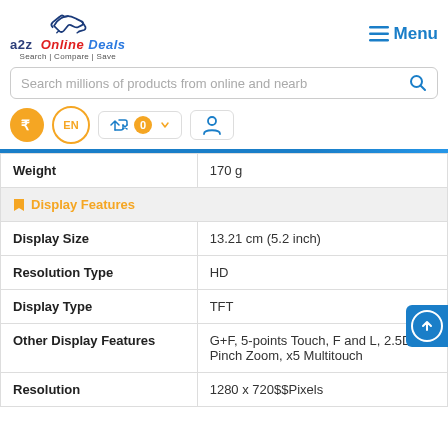[Figure (logo): a2z Online Deals logo with handshake icon and tagline Search | Compare | Save]
Menu
Search millions of products from online and nearb
| Specification | Value |
| --- | --- |
| Weight | 170 g |
| Display Features |  |
| Display Size | 13.21 cm (5.2 inch) |
| Resolution Type | HD |
| Display Type | TFT |
| Other Display Features | G+F, 5-points Touch, F and L, 2.5D, Pinch Zoom, x5 Multitouch |
| Resolution | 1280 x 720$$Pixels |